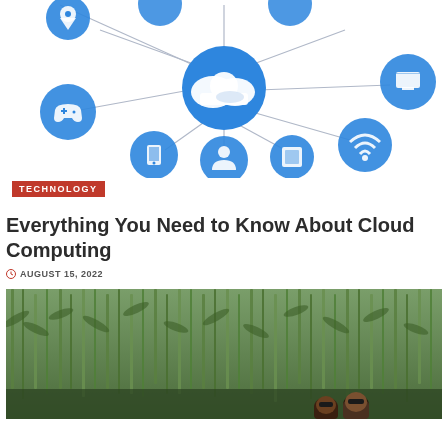[Figure (infographic): Cloud computing diagram with central cloud icon connected by lines to multiple blue circular icons representing various devices and services (location pin, gamepad, mobile phone, person/user, monitor/TV, WiFi, square/storage)]
TECHNOLOGY
Everything You Need to Know About Cloud Computing
AUGUST 15, 2022
[Figure (photo): Photo of a corn field (green crops) with people visible at the bottom right of the frame]